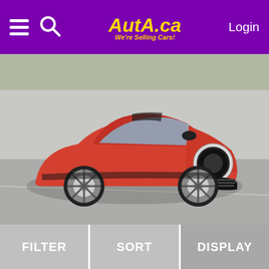AUTA.ca We're Selling Cars! Login
[Figure (photo): Red 2012 Mini Cooper Roadster S 2DR Convertible photographed from the front-right angle in a parking lot]
2012 Mini Cooper Roadster S 2DR Convertible
116780 km   $14,991 USD
[Figure (photo): Partial view of another car listing at bottom of page]
FILTER   SORT   DISPLAY